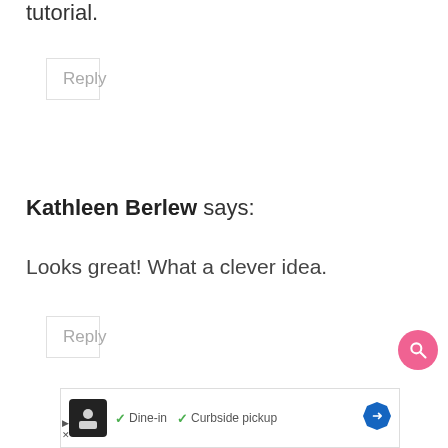tutorial.
Reply
Kathleen Berlew says:
Looks great! What a clever idea.
Reply
[Figure (other): Pink circular search button with magnifying glass icon]
[Figure (other): Advertisement bar with restaurant icon, checkmarks for Dine-in and Curbside pickup, and navigation arrow]